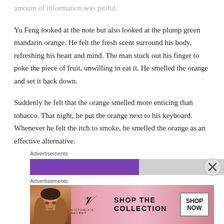amount of information was pitiful.
Yu Feng looked at the note but also looked at the plump green mandarin orange. He felt the fresh scent surround his body, refreshing his heart and mind. The man stuck out his finger to poke the piece of fruit, unwilling to eat it. He smelled the orange and set it back down.
Suddenly he felt that the orange smelled more enticing than tobacco. That night, he put the orange next to his keyboard. Whenever he felt the itch to smoke, he smelled the orange as an effective alternative.
Advertisements
[Figure (screenshot): Purple advertisement bar with gray section, and a close button (X circle icon) on right]
Advertisements
[Figure (screenshot): Victoria's Secret advertisement banner with model photo, VS logo, 'SHOP THE COLLECTION' text, and 'SHOP NOW' button]